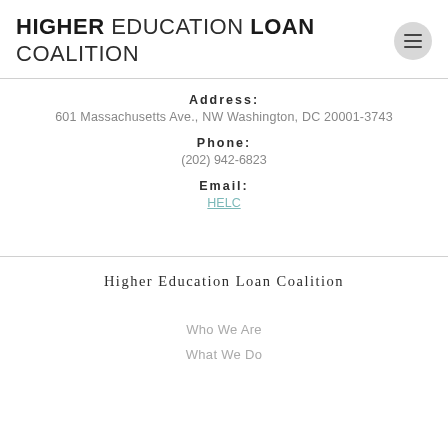HIGHER EDUCATION LOAN COALITION
Address:
601 Massachusetts Ave., NW Washington, DC 20001-3743
Phone:
(202) 942-6823
Email:
HELC
Higher Education Loan Coalition
Who We Are
What We Do